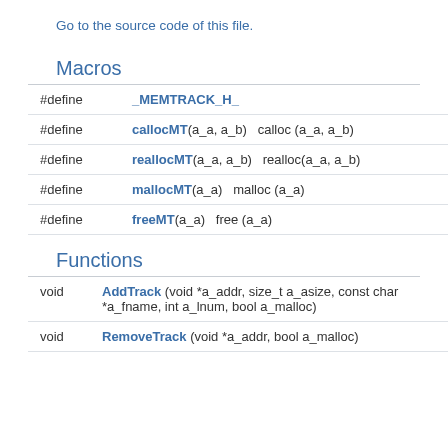Go to the source code of this file.
Macros
|  |  |
| --- | --- |
| #define | _MEMTRACK_H_ |
| #define | callocMT(a_a, a_b)   calloc (a_a, a_b) |
| #define | reallocMT(a_a, a_b)   realloc(a_a, a_b) |
| #define | mallocMT(a_a)   malloc (a_a) |
| #define | freeMT(a_a)   free (a_a) |
Functions
|  |  |
| --- | --- |
| void | AddTrack (void *a_addr, size_t a_asize, const char *a_fname, int a_lnum, bool a_malloc) |
| void | RemoveTrack (void *a_addr, bool a_malloc) |